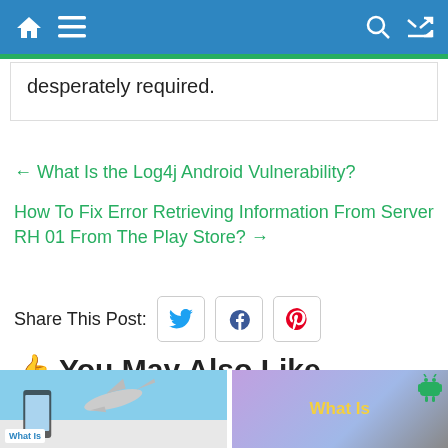Navigation bar with home, menu, search, shuffle icons
desperately required.
← What Is the Log4j Android Vulnerability?
How To Fix Error Retrieving Information From Server RH 01 From The Play Store? →
Share This Post:
👍 You May Also Like
[Figure (photo): Two thumbnail images below 'You May Also Like' section. Left thumbnail shows a phone with airplane imagery and a 'What Is' label. Right thumbnail shows 'What Is' in yellow text on a purple/blue background with an Android icon.]